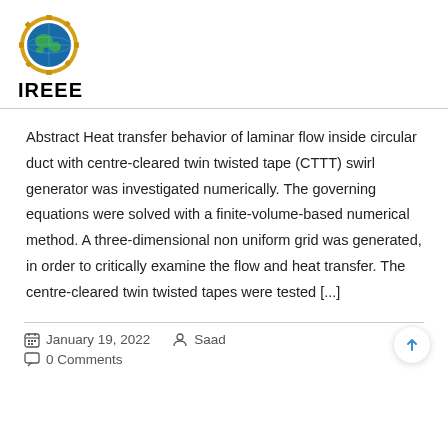[Figure (logo): IREEE organization logo — circular globe icon with gear border]
IREEE
Abstract Heat transfer behavior of laminar flow inside circular duct with centre-cleared twin twisted tape (CTTT) swirl generator was investigated numerically. The governing equations were solved with a finite-volume-based numerical method. A three-dimensional non uniform grid was generated, in order to critically examine the flow and heat transfer. The centre-cleared twin twisted tapes were tested [...]
January 19, 2022   Saad   0 Comments